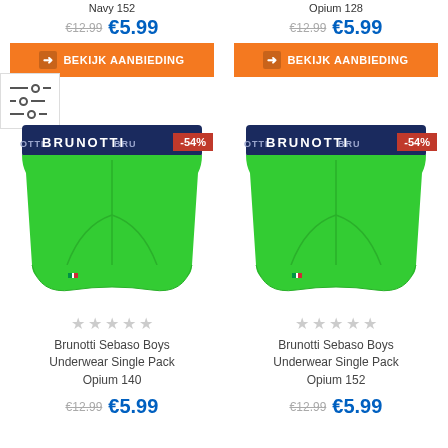Navy 152
€12.99  €5.99
BEKIJK AANBIEDING
Opium 128
€12.99  €5.99
BEKIJK AANBIEDING
[Figure (photo): Brunotti Sebaso Boys green boxer underwear with navy waistband showing -54% discount badge, left product]
[Figure (photo): Brunotti Sebaso Boys green boxer underwear with navy waistband showing -54% discount badge, right product]
★★★★★ (empty stars)
Brunotti Sebaso Boys Underwear Single Pack Opium 140
€12.99  €5.99
★★★★★ (empty stars)
Brunotti Sebaso Boys Underwear Single Pack Opium 152
€12.99  €5.99